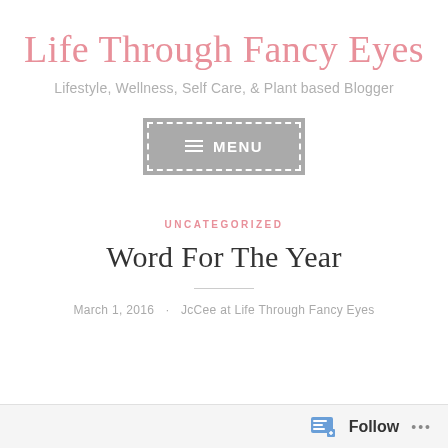Life Through Fancy Eyes
Lifestyle, Wellness, Self Care, & Plant based Blogger
[Figure (other): A grey button with dashed white border and hamburger menu icon labeled MENU]
UNCATEGORIZED
Word For The Year
March 1, 2016 · JcCee at Life Through Fancy Eyes
Follow ...